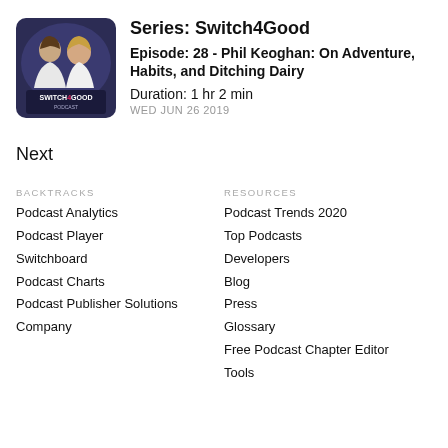[Figure (illustration): Switch4Good Podcast cover art showing two women smiling, with text SWITCH4GOOD PODCAST on a purple/navy background]
Series: Switch4Good
Episode: 28 - Phil Keoghan: On Adventure, Habits, and Ditching Dairy
Duration: 1 hr 2 min
WED JUN 26 2019
Next
BACKTRACKS
Podcast Analytics
Podcast Player
Switchboard
Podcast Charts
Podcast Publisher Solutions
Company
RESOURCES
Podcast Trends 2020
Top Podcasts
Developers
Blog
Press
Glossary
Free Podcast Chapter Editor
Tools